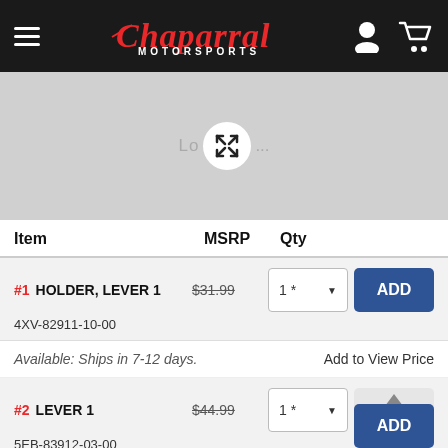[Figure (screenshot): Chaparral Motorsports website header with hamburger menu, logo, user icon and cart icon on dark background]
[Figure (screenshot): Product image loading area (gray placeholder) with expand icon button]
| Item | MSRP | Qty |  |
| --- | --- | --- | --- |
| #1 HOLDER, LEVER 1
4XV-82911-10-00 | $31.99 | 1 * | ADD |
| Available: Ships in 7-12 days. |  |  | Add to View Price |
| #2 LEVER 1
5EB-83912-03-00 | $44.99 | 1 * | ADD |